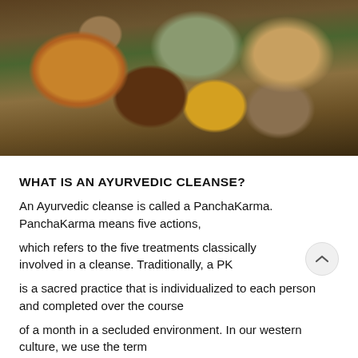[Figure (photo): Overhead view of Ayurvedic herbs and spices in clay bowls including yellow berries, black peppercorns, turmeric powder, and green herbs, with a mortar and pestle being used by a person's hands in the background on a natural earthy surface.]
WHAT IS AN AYURVEDIC CLEANSE?
An Ayurvedic cleanse is called a PanchaKarma. PanchaKarma means five actions,
which refers to the five treatments classically involved in a cleanse. Traditionally, a PK
is a sacred practice that is individualized to each person and completed over the course
of a month in a secluded environment. In our western culture, we use the term